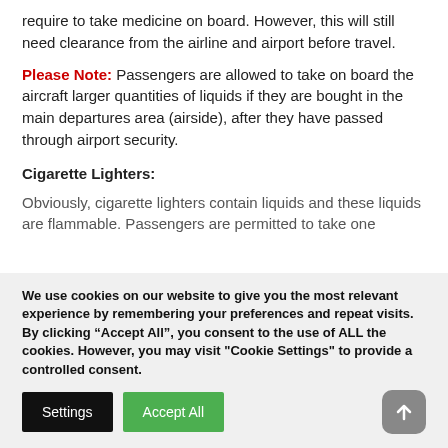require to take medicine on board. However, this will still need clearance from the airline and airport before travel.
Please Note: Passengers are allowed to take on board the aircraft larger quantities of liquids if they are bought in the main departures area (airside), after they have passed through airport security.
Cigarette Lighters:
Obviously, cigarette lighters contain liquids and these liquids are flammable. Passengers are permitted to take one
We use cookies on our website to give you the most relevant experience by remembering your preferences and repeat visits. By clicking “Accept All”, you consent to the use of ALL the cookies. However, you may visit "Cookie Settings" to provide a controlled consent.